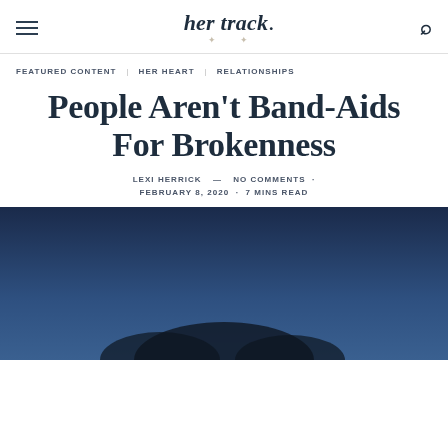her track.
FEATURED CONTENT   HER HEART   RELATIONSHIPS
People Aren't Band-Aids For Brokenness
LEXI HERRICK — NO COMMENTS · FEBRUARY 8, 2020 · 7 MINS READ
[Figure (photo): Dark blue atmospheric photo, possibly a silhouette of a person against a night or dusk sky]